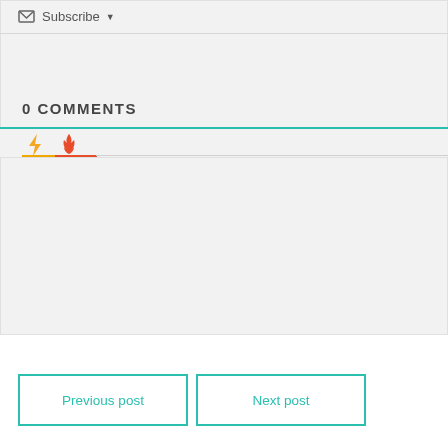Subscribe ▼
0 COMMENTS
[Figure (other): Tab icons: lightning bolt (yellow/orange) and flame (red/orange) with colored underlines]
Previous post
Next post